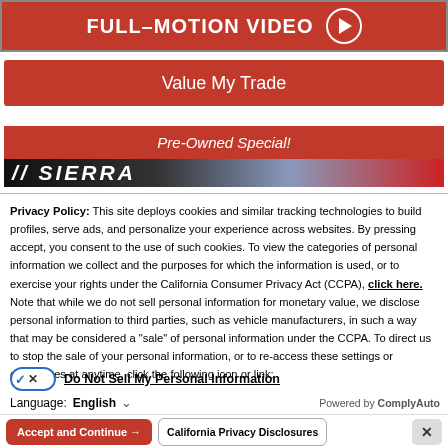[Figure (screenshot): Red banner with white bold text FULL-MOTION VIDEO and a circular play button on the right]
[Figure (screenshot): Red button labeled Value My Trade]
[Figure (screenshot): Red banner labeled Pre-Owned Special!]
[Figure (screenshot): Dark banner with Sierra logo/branding text in italic white font]
Privacy Policy: This site deploys cookies and similar tracking technologies to build profiles, serve ads, and personalize your experience across websites. By pressing accept, you consent to the use of such cookies. To view the categories of personal information we collect and the purposes for which the information is used, or to exercise your rights under the California Consumer Privacy Act (CCPA), click here. Note that while we do not sell personal information for monetary value, we disclose personal information to third parties, such as vehicle manufacturers, in such a way that may be considered a "sale" of personal information under the CCPA. To direct us to stop the sale of your personal information, or to re-access these settings or disclosures at anytime, click the following icon or link:
Do Not Sell My Personal Information
Language: English
Powered by ComplyAuto
Accept and Continue →
California Privacy Disclosures
Update your browser for more security, speed and the best experience on this site.
Update browser
Ignore